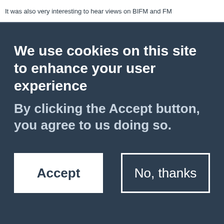It was also very interesting to hear views on BIFM and FM
We use cookies on this site to enhance your user experience
By clicking the Accept button, you agree to us doing so.
Accept
No, thanks